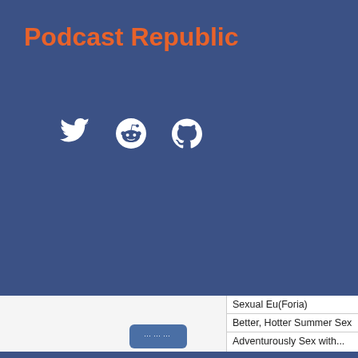Podcast Republic
[Figure (infographic): Social media icons: Twitter bird, Reddit alien, GitHub octocat — white on blue background]
Sexual Eu(Foria)
Better, Hotter Summer Sex
Adventurously Sex with...